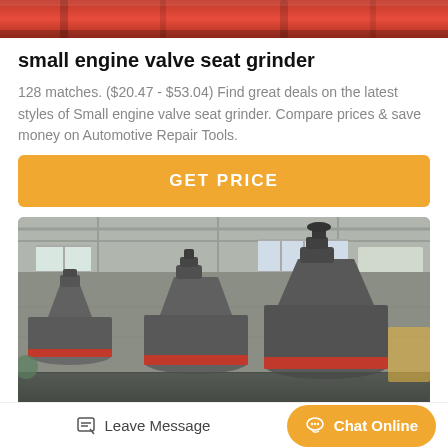[Figure (photo): Top portion of red industrial equipment (valve seat grinder) shown cropped at top of page]
small engine valve seat grinder
128 matches. ($20.47 - $53.04) Find great deals on the latest styles of Small engine valve seat grinder. Compare prices & save money on Automotive Repair Tools.
[Figure (other): Orange GET PRICE button]
[Figure (photo): Industrial factory interior showing multiple large cone-shaped grinding machines (vertical mills) with red rings at base, set inside a concrete building with large windows]
Leave Message   Chat Online